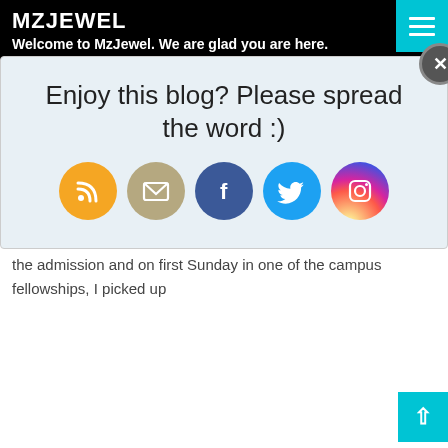MZJEWEL
Welcome to MzJewel. We are glad you are here.
[Figure (infographic): Social sharing popup with title 'Enjoy this blog? Please spread the word :)' and social media icons for RSS, Email, Facebook, Twitter, Instagram. Has a close (X) button in top right corner.]
St...
had quick access to men, money anyway I wanted it. That was where I met Tayo.
In January 2004, I began to pray to God for an admission into the Olabisi Onabanjo University. I told God that if I got into this school I would serve him with my life. Even though I was told it wouldn't be possible, somehow miraculously it happened. I got the admission and on first Sunday in one of the campus fellowships, I picked up